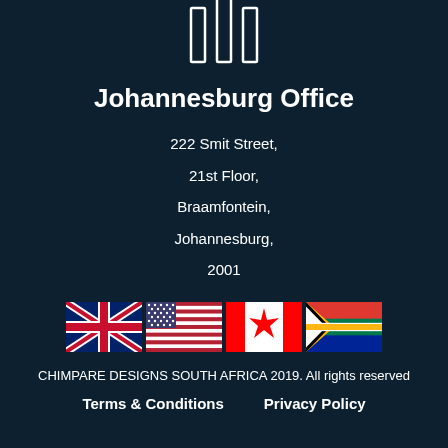[Figure (logo): White line drawing of a building/monument icon on dark background]
Johannesburg Office
222 Smit Street,
21st Floor,
Braamfontein,
Johannesburg,
2001
[Figure (illustration): Four country flags in a row: UK, USA, Canada, South Africa]
CHIMPARE DESIGNS SOUTH AFRICA 2019. All rights reserved
Terms & Conditions    Privacy Policy